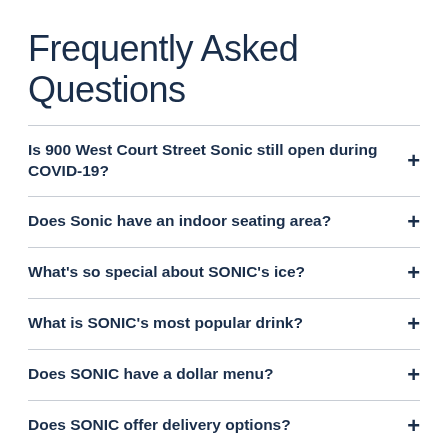Frequently Asked Questions
Is 900 West Court Street Sonic still open during COVID-19?
Does Sonic have an indoor seating area?
What's so special about SONIC's ice?
What is SONIC's most popular drink?
Does SONIC have a dollar menu?
Does SONIC offer delivery options?